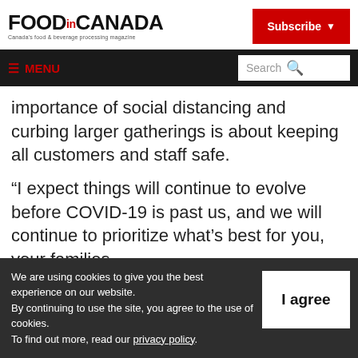FOOD.in.CANADA — Canada's food & beverage processing magazine
≡ MENU | Search
importance of social distancing and curbing larger gatherings is about keeping all customers and staff safe.
“I expect things will continue to evolve before COVID-19 is past us, and we will continue to prioritize what’s best for you, your families
We are using cookies to give you the best experience on our website. By continuing to use the site, you agree to the use of cookies. To find out more, read our privacy policy.